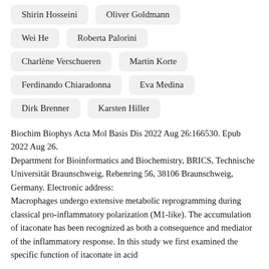Shirin Hosseini
Oliver Goldmann
Wei He
Roberta Palorini
Charlène Verschueren
Martin Korte
Ferdinando Chiaradonna
Eva Medina
Dirk Brenner
Karsten Hiller
Biochim Biophys Acta Mol Basis Dis 2022 Aug 26:166530. Epub 2022 Aug 26.
Department for Bioinformatics and Biochemistry, BRICS, Technische Universität Braunschweig, Rebenring 56, 38106 Braunschweig, Germany. Electronic address:
Macrophages undergo extensive metabolic reprogramming during classical pro-inflammatory polarization (M1-like). The accumulation of itaconate has been recognized as both a consequence and mediator of the inflammatory response. In this study we first examined the specific function of itaconate in acid